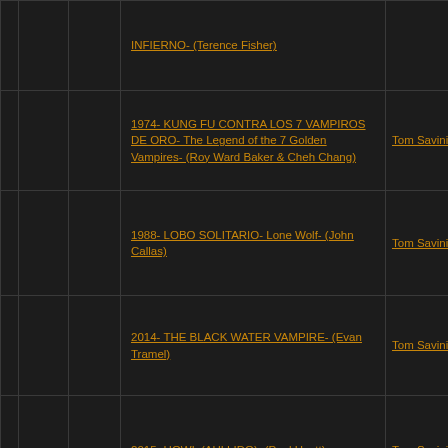|  |  |  | Film | Person |
| --- | --- | --- | --- | --- |
|  |  |  | INFIERNO- (Terence Fisher) |  |
|  |  |  | 1974- KUNG FU CONTRA LOS 7 VAMPIROS DE ORO- The Legend of the 7 Golden Vampires- (Roy Ward Baker & Cheh Chang) | Tom Savini |
|  |  |  | 1988- LOBO SOLITARIO- Lone Wolf- (John Callas) | Tom Savini |
|  |  |  | 2014- THE BLACK WATER VAMPIRE- (Evan Tramel) | Tom Savini |
|  |  |  | 2015- HOWL (AULLIDO)- (Paul Hyett) | Tom Savini |